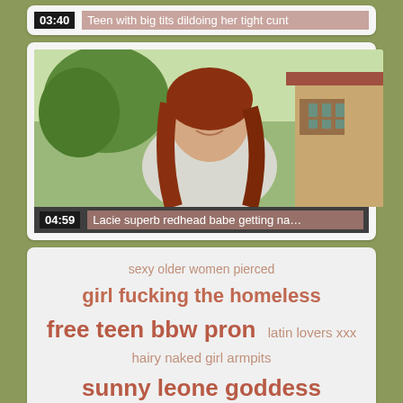[Figure (screenshot): Video thumbnail card showing duration 03:40 and title 'Teen with big tits dildoing her tight cunt']
[Figure (photo): Video card with photo of redhead girl outdoors smiling, duration 04:59, title 'Lacie superb redhead babe getting na...']
sexy older women pierced
girl fucking the homeless
free teen bbw pron    latin lovers xxx
hairy naked girl armpits
sunny leone goddess
mariah milano sex ed class
fucking sleeping patients by doctors
bite mother sex    www crazy bitche